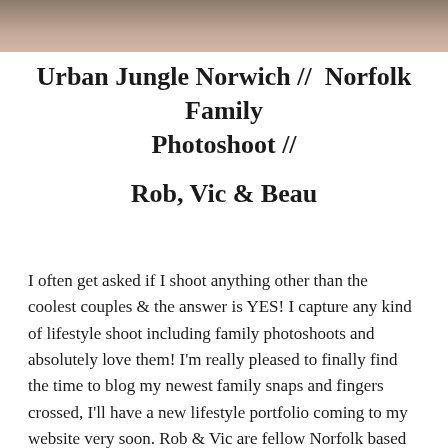[Figure (photo): Partial cropped photo at top of page showing people, muted warm tones]
Urban Jungle Norwich //  Norfolk Family Photoshoot //
Rob, Vic & Beau
I often get asked if I shoot anything other than the coolest couples & the answer is YES! I capture any kind of lifestyle shoot including family photoshoots and absolutely love them! I'm really pleased to finally find the time to blog my newest family snaps and fingers crossed, I'll have a new lifestyle portfolio coming to my website very soon. Rob & Vic are fellow Norfolk based photographers (you can check their